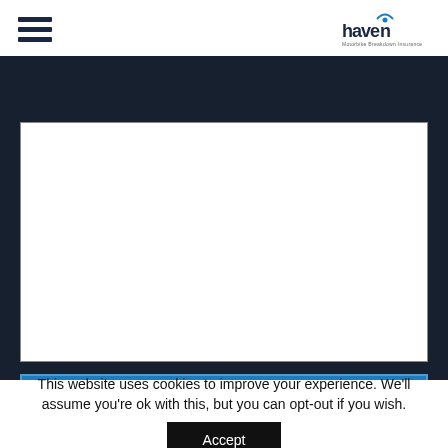haven insurance
[Figure (screenshot): Web form page for Haven Insurance showing a textarea for user input, a blue Submit button, on a dark navy background. Below is a cookie consent banner with Accept button.]
This website uses cookies to improve your experience. We'll assume you're ok with this, but you can opt-out if you wish.
Accept